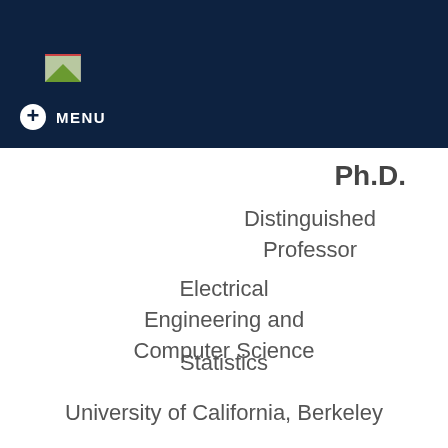[Figure (logo): Broken image placeholder icon in dark navy header bar]
MENU
Ph.D.
Distinguished Professor
Electrical Engineering and Computer Science
Statistics
University of California, Berkeley